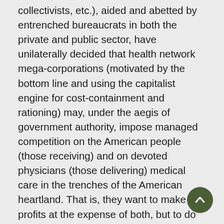collectivists, etc.), aided and abetted by entrenched bureaucrats in both the private and public sector, have unilaterally decided that health network mega-corporations (motivated by the bottom line and using the capitalist engine for cost-containment and rationing) may, under the aegis of government authority, impose managed competition on the American people (those receiving) and on devoted physicians (those delivering) medical care in the trenches of the American heartland. That is, they want to make big profits at the expense of both, but to do so, they must first change the ethics of the noble profession of medicine. And to accomplish this goal, they must sell us the erroneous idea that medical ethics evolves with time and may be tailored to fit the needs of specific conditions, i.e. the present situation or the post-Modern age. It goes without saying that for medicine,